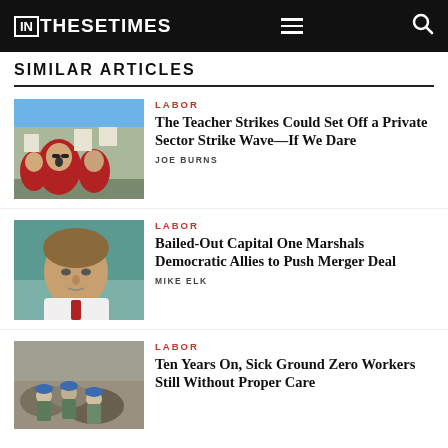IN THESE TIMES
SIMILAR ARTICLES
[Figure (photo): People in red shirts at a protest, one man shouting with mouth open, holding signs]
LABOR
The Teacher Strikes Could Set Off a Private Sector Strike Wave—If We Dare
JOE BURNS
[Figure (photo): Close-up of a man in a white shirt and red tie, looking down, outdoors]
LABOR
Bailed-Out Capital One Marshals Democratic Allies to Push Merger Deal
MIKE ELK
[Figure (photo): Workers in blue hard hats at a rocky site, possibly Ground Zero rescue workers]
LABOR
Ten Years On, Sick Ground Zero Workers Still Without Proper Care